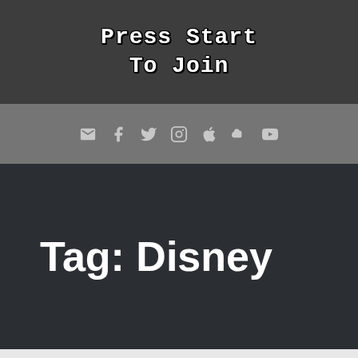Press Start To Join
[Figure (other): Navigation bar with social media icons: email, Facebook, Twitter, Instagram, Apple, SoundCloud, YouTube]
Tag: Disney